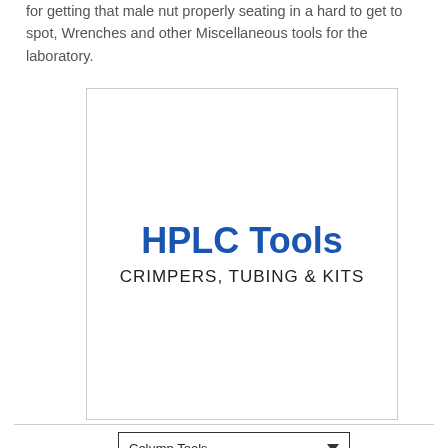for getting that male nut properly seating in a hard to get to spot, Wrenches and other Miscellaneous tools for the laboratory.
[Figure (illustration): A white box with blue bold text 'HPLC Tools' and below it in dark sans-serif 'CRIMPERS, TUBING & KITS']
Column Tools (dropdown)